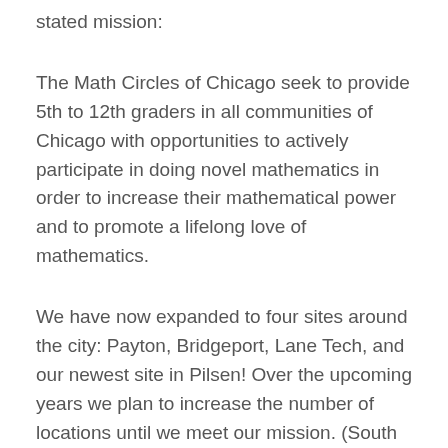stated mission:
The Math Circles of Chicago seek to provide 5th to 12th graders in all communities of Chicago with opportunities to actively participate in doing novel mathematics in order to increase their mathematical power and to promote a lifelong love of mathematics.
We have now expanded to four sites around the city: Payton, Bridgeport, Lane Tech, and our newest site in Pilsen! Over the upcoming years we plan to increase the number of locations until we meet our mission. (South siders note: we may be expanding this year to include a site at the University of Chicago, and...